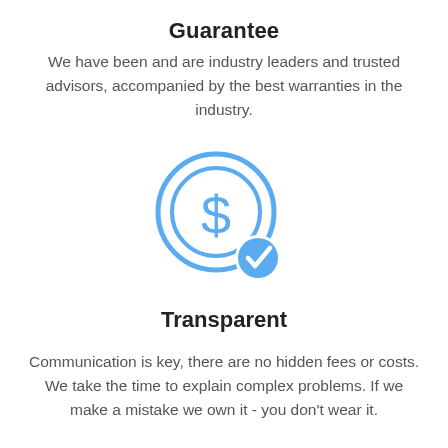Guarantee
We have been and are industry leaders and trusted advisors, accompanied by the best warranties in the industry.
[Figure (illustration): Blue line-art icon of a coin with a dollar sign and a blue checkmark badge overlapping the bottom-right of the coin, inside a circle.]
Transparent
Communication is key, there are no hidden fees or costs. We take the time to explain complex problems. If we make a mistake we own it - you don't wear it.